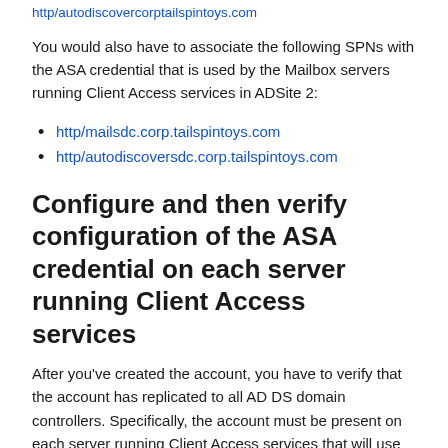http/autodiscovercorptailspintoys.com
You would also have to associate the following SPNs with the ASA credential that is used by the Mailbox servers running Client Access services in ADSite 2:
http/mailsdc.corp.tailspintoys.com
http/autodiscoversdc.corp.tailspintoys.com
Configure and then verify configuration of the ASA credential on each server running Client Access services
After you've created the account, you have to verify that the account has replicated to all AD DS domain controllers. Specifically, the account must be present on each server running Client Access services that will use the ASA